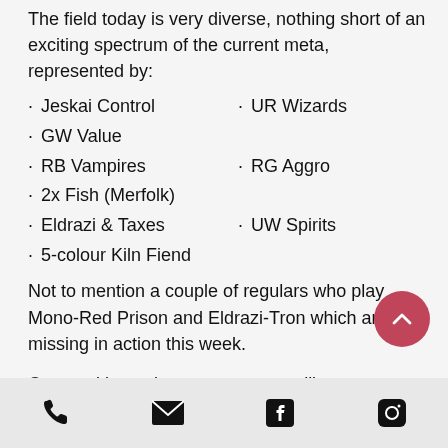The field today is very diverse, nothing short of an exciting spectrum of the current meta, represented by:
Jeskai Control
UR Wizards
GW Value
RB Vampires
RG Aggro
2x Fish (Merfolk)
Eldrazi & Taxes
UW Spirits
5-colour Kiln Fiend
Not to mention a couple of regulars who play Mono-Red Prison and Eldrazi-Tron which are missing in action this week.
Our weekly modern event scene will
Phone | Email | Facebook | Instagram